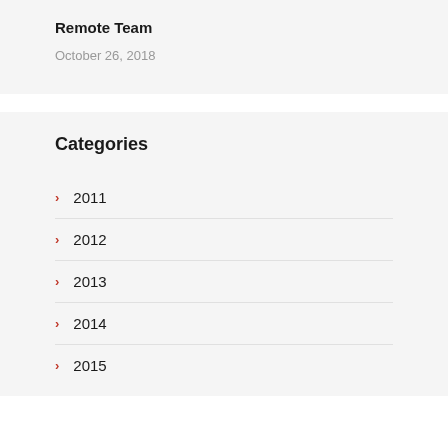Remote Team
October 26, 2018
Categories
2011
2012
2013
2014
2015